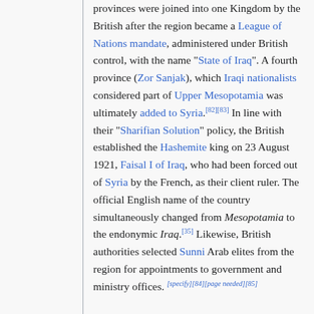provinces were joined into one Kingdom by the British after the region became a League of Nations mandate, administered under British control, with the name "State of Iraq". A fourth province (Zor Sanjak), which Iraqi nationalists considered part of Upper Mesopotamia was ultimately added to Syria.[82][83] In line with their "Sharifian Solution" policy, the British established the Hashemite king on 23 August 1921, Faisal I of Iraq, who had been forced out of Syria by the French, as their client ruler. The official English name of the country simultaneously changed from Mesopotamia to the endonymic Iraq.[35] Likewise, British authorities selected Sunni Arab elites from the region for appointments to government and ministry offices. [specify][84][page needed][85]